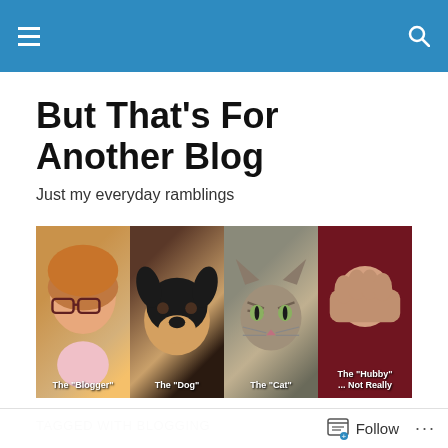But That's For Another Blog
Just my everyday ramblings
[Figure (photo): Four photos side by side: The Blogger (woman blowing bubble gum), The Dog (Husky dog), The Cat (tabby cat), The Hubby ... Not Really (bald man facepalming)]
TAGGED WITH BLOGGING
Just when ya think you're the most awkward person in the world, you discover karaoke
Follow